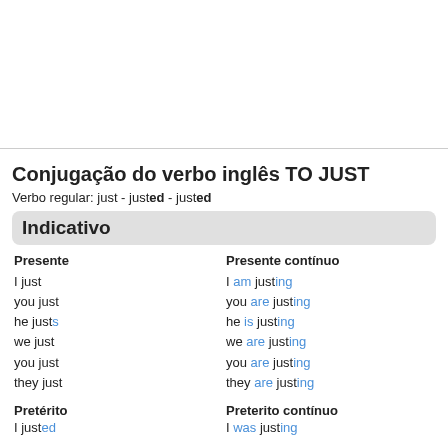Conjugação do verbo inglês TO JUST
Verbo regular: just - justed - justed
Indicativo
Presente
Presente contínuo
I just
you just
he justs
we just
you just
they just
I am justing
you are justing
he is justing
we are justing
you are justing
they are justing
Pretérito
Preterito contínuo
I justed
I was justing